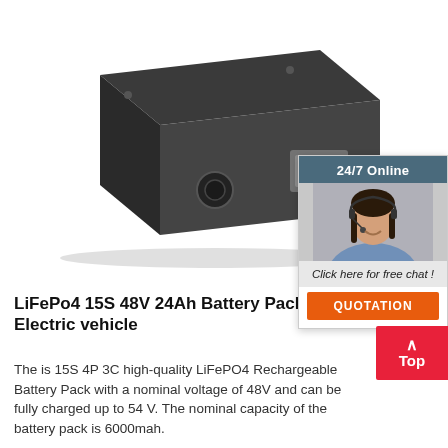[Figure (photo): A dark charcoal/black rectangular LiFePo4 battery pack shown in three-quarter perspective view, with a small circular dial/vent on the front face]
[Figure (infographic): 24/7 Online chat widget showing a customer service representative wearing a headset, with 'Click here for free chat!' text and an orange QUOTATION button]
LiFePo4 15S 48V 24Ah Battery Pack For Electric vehicle
The is 15S 4P 3C high-quality LiFePO4 Rechargeable Battery Pack with a nominal voltage of 48V and can be fully charged up to 54 V. The nominal capacity of the battery pack is 6000mah.